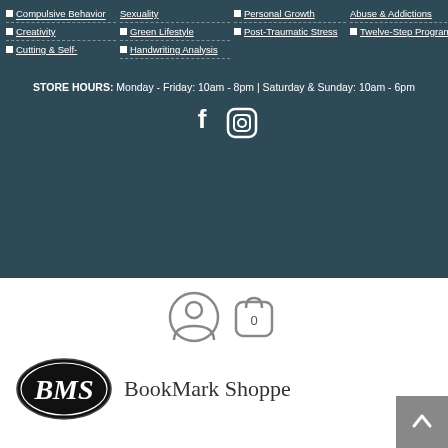Compulsive Behavior
Creativity
Cutting & Self-
Sexuality
Green Lifestyle
Handwriting Analysis
Personal Growth
Post-Traumatic Stress
Abuse & Addictions
Twelve-Step Programs
STORE HOURS: Monday - Friday: 10am - 8pm | Saturday & Sunday: 10am - 6pm
[Figure (illustration): Social media icons: Facebook and Instagram]
[Figure (illustration): Account and cart icons with cart count 0]
[Figure (logo): BookMark Shoppe logo - oval with BMS text]
BookMark Shoppe